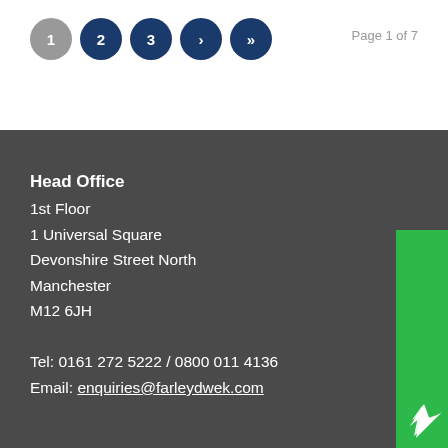[Figure (other): Pagination buttons: circles numbered 1 (gray), 2, 3, › (next), » (last) in dark blue]
Page 1 of 7
Head Office
1st Floor
1 Universal Square
Devonshire Street North
Manchester
M12 6JH

Tel: 0161 272 5222 / 0800 011 4136
Email: enquiries@farleydwek.com
[Figure (logo): reviewsolicitors vertical badge in green with white bird/check logo and rotated text]